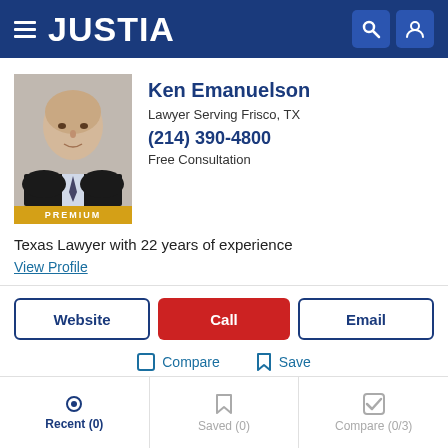JUSTIA
[Figure (photo): Headshot photo of Ken Emanuelson, a bald man in a dark suit with a tie, with a PREMIUM badge below]
Ken Emanuelson
Lawyer Serving Frisco, TX
(214) 390-4800
Free Consultation
Texas Lawyer with 22 years of experience
View Profile
Website
Call
Email
Compare
Save
Recent (0)
Saved (0)
Compare (0/3)